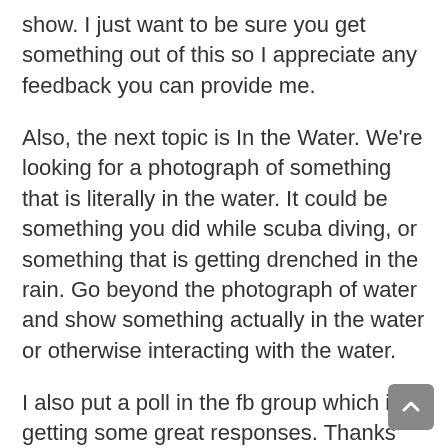show. I just want to be sure you get something out of this so I appreciate any feedback you can provide me.
Also, the next topic is In the Water. We're looking for a photograph of something that is literally in the water. It could be something you did while scuba diving, or something that is getting drenched in the rain. Go beyond the photograph of water and show something actually in the water or otherwise interacting with the water.
I also put a poll in the fb group which is getting some great responses. Thanks for all those who have participated already. The question is related to how you see yourself as a photographer.